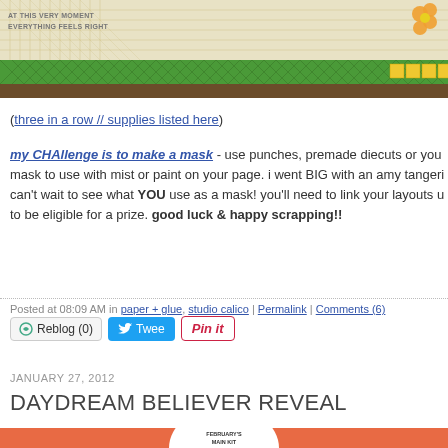[Figure (photo): Scrapbooking page with green crosshatch band and brown strip at bottom, decorative elements]
(three in a row // supplies listed here)
my CHAllenge is to make a mask - use punches, premade diecuts or your own mask to use with mist or paint on your page. i went BIG with an amy tangeri... can't wait to see what YOU use as a mask! you'll need to link your layouts u... to be eligible for a prize. good luck & happy scrapping!!
Posted at 08:09 AM in paper + glue, studio calico | Permalink | Comments (6)
Reblog (0)  Tweet  Pin it
JANUARY 27, 2012
DAYDREAM BELIEVER REVEAL
[Figure (photo): Orange background with white circle badge reading FEBRUARY'S MAIN KIT, scrapbook paper samples below]